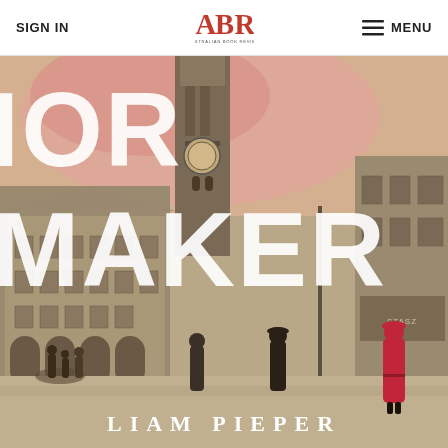SIGN IN | ABR Australian Book Review | MENU
[Figure (photo): Book cover of 'The Tour Maker' by Liam Pieper. Background is a vintage sepia/black-and-white photograph of a European town square with Gothic architecture, a church tower, and pedestrians. Overlaid text reads 'TOUR MAKER' in large white letters, with partial letters visible at top. A woman in a red coat stands in the foreground on the right. The author name 'LIAM PIEPER' appears at the bottom in white serif letters. Pink/rose watercolor wash appears in the upper portion.]